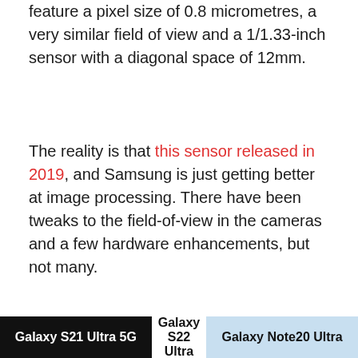feature a pixel size of 0.8 micrometres, a very similar field of view and a 1/1.33-inch sensor with a diagonal space of 12mm.
The reality is that this sensor released in 2019, and Samsung is just getting better at image processing. There have been tweaks to the field-of-view in the cameras and a few hardware enhancements, but not many.
This is a good thing, but when the Galaxy S22 Ultra website says, “We’ve reworked the hardware and software in our Pro-grade Camera and now comes our brightest innovation yet — Nightography,” most would expect more hardware changes.
[Figure (other): Bottom bar showing three phone model labels: Galaxy S21 Ultra 5G (black background, white text), Galaxy S22 Ultra (white background, black text), Galaxy Note20 Ultra (light blue background, black text)]